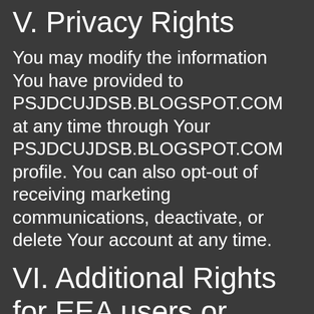V. Privacy Rights
You may modify the information You have provided to PSJDCUJDSB.BLOGSPOT.COM at any time through Your PSJDCUJDSB.BLOGSPOT.COM profile. You can also opt-out of receiving marketing communications, deactivate, or delete Your account at any time.
VI. Additional Rights for EEA users or similar international